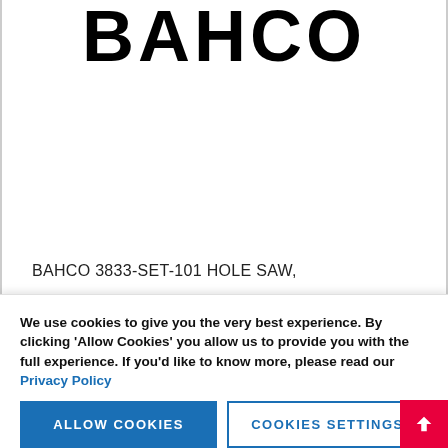[Figure (logo): BAHCO brand logo in large bold black text]
BAHCO 3833-SET-101 HOLE SAW,
HSI#: 3833-SET-101-12885
We use cookies to give you the very best experience. By clicking 'Allow Cookies' you allow us to provide you with the full experience. If you'd like to know more, please read our Privacy Policy
ALLOW COOKIES
COOKIES SETTINGS